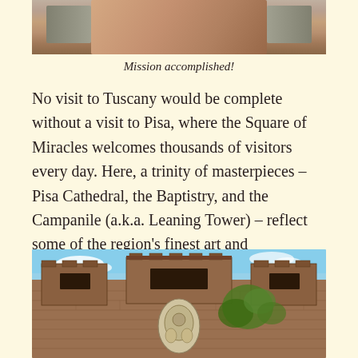[Figure (photo): Partial photo at top of page showing a person, cropped — only lower body/hands visible against a wooden background]
Mission accomplished!
No visit to Tuscany would be complete without a visit to Pisa, where the Square of Miracles welcomes thousands of visitors every day. Here, a trinity of masterpieces – Pisa Cathedral, the Baptistry, and the Campanile (a.k.a. Leaning Tower) – reflect some of the region's finest art and architecture.
[Figure (photo): Photo of an old brick wall or fortification with battlements, featuring a decorative stone emblem/coat of arms in the center, green ivy/vegetation on the right side, and a partly cloudy blue sky above.]